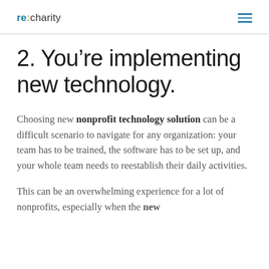re:charity
2. You’re implementing new technology.
Choosing new nonprofit technology solution can be a difficult scenario to navigate for any organization: your team has to be trained, the software has to be set up, and your whole team needs to reestablish their daily activities.
This can be an overwhelming experience for a lot of nonprofits, especially when the new